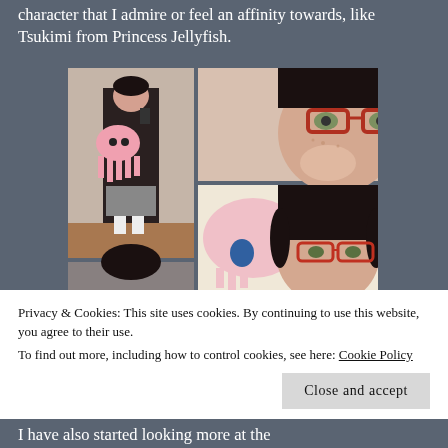character that I admire or feel an affinity towards, like Tsukimi from Princess Jellyfish.
[Figure (photo): A collage of three photos: left photo shows a person in a mirror selfie holding a pink jellyfish plush toy wearing a skirt and white socks; top-right photo shows a close-up of a person with red-framed glasses touching their face; bottom-right photo shows a person with black bangs and red-framed glasses next to a large pink plush jellyfish.]
Privacy & Cookies: This site uses cookies. By continuing to use this website, you agree to their use.
To find out more, including how to control cookies, see here: Cookie Policy
I have also started looking more at the